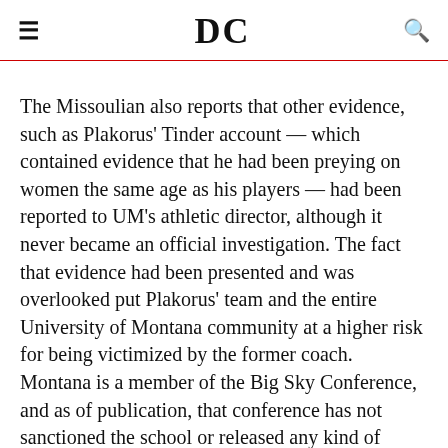DC
The Missoulian also reports that other evidence, such as Plakorus' Tinder account — which contained evidence that he had been preying on women the same age as his players — had been reported to UM's athletic director, although it never became an official investigation. The fact that evidence had been presented and was overlooked put Plakorus' team and the entire University of Montana community at a higher risk for being victimized by the former coach. Montana is a member of the Big Sky Conference, and as of publication, that conference has not sanctioned the school or released any kind of statement in relation to Plakorus' firing.
While Montana's scandal appears on the surface to be small potatoes compared to Nassar, it is still imperative that substantive action is taken in order to make athletes